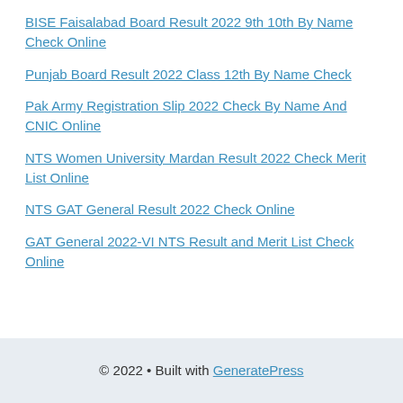BISE Faisalabad Board Result 2022 9th 10th By Name Check Online
Punjab Board Result 2022 Class 12th By Name Check
Pak Army Registration Slip 2022 Check By Name And CNIC Online
NTS Women University Mardan Result 2022 Check Merit List Online
NTS GAT General Result 2022 Check Online
GAT General 2022-VI NTS Result and Merit List Check Online
© 2022 • Built with GeneratePress